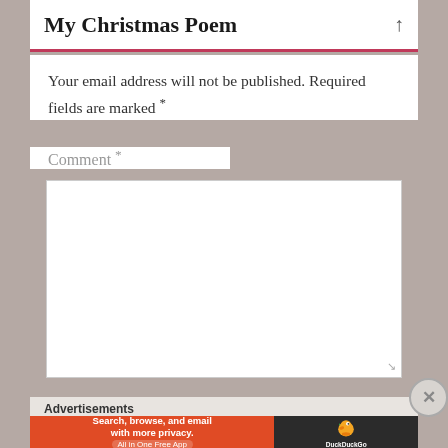My Christmas Poem
Your email address will not be published. Required fields are marked *
Comment *
[Figure (screenshot): Empty comment text area input box]
Advertisements
[Figure (infographic): DuckDuckGo advertisement banner: Search, browse, and email with more privacy. All in One Free App]